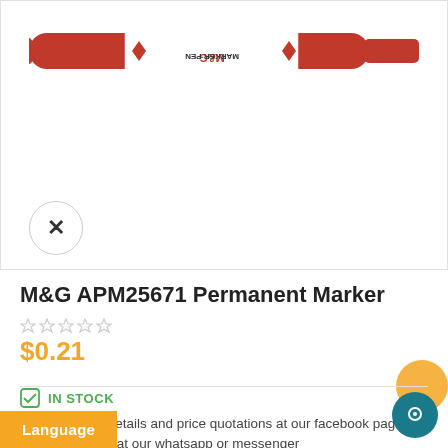[Figure (photo): Red M&G APM25671 Permanent Marker pen, shown horizontally with label visible. The pen is red with a white label section showing 'M&G MARKER PEN' text.]
M&G APM25671 Permanent Marker
$0.21
IN STOCK
Contact us for details and price quotations at our facebook page or give us a knock at our whatsapp or messenger